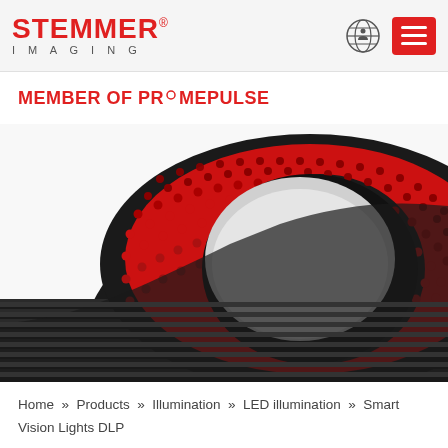STEMMER® IMAGING
MEMBER OF PRIMEPULSE
[Figure (photo): Close-up photograph of a circular LED ring light illuminator (Smart Vision Lights DLP) with red LEDs arranged in a donut pattern, housed in a black anodized aluminum casing with ribbed heat sink fins.]
Home » Products » Illumination » LED illumination » Smart Vision Lights DLP